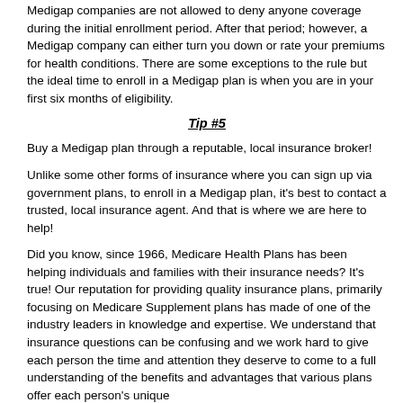Medigap companies are not allowed to deny anyone coverage during the initial enrollment period. After that period; however, a Medigap company can either turn you down or rate your premiums for health conditions. There are some exceptions to the rule but the ideal time to enroll in a Medigap plan is when you are in your first six months of eligibility.
Tip #5
Buy a Medigap plan through a reputable, local insurance broker!
Unlike some other forms of insurance where you can sign up via government plans, to enroll in a Medigap plan, it's best to contact a trusted, local insurance agent. And that is where we are here to help!
Did you know, since 1966, Medicare Health Plans has been helping individuals and families with their insurance needs? It's true! Our reputation for providing quality insurance plans, primarily focusing on Medicare Supplement plans has made of one of the industry leaders in knowledge and expertise. We understand that insurance questions can be confusing and we work hard to give each person the time and attention they deserve to come to a full understanding of the benefits and advantages that various plans offer each person's unique